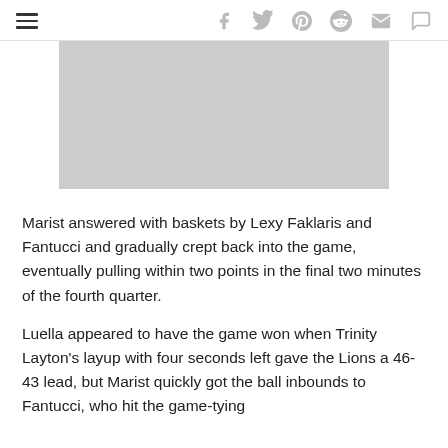navigation and social icons bar
[Figure (photo): Gray placeholder image rectangle, partially cropped at top]
Marist answered with baskets by Lexy Faklaris and Fantucci and gradually crept back into the game, eventually pulling within two points in the final two minutes of the fourth quarter.
Luella appeared to have the game won when Trinity Layton's layup with four seconds left gave the Lions a 46-43 lead, but Marist quickly got the ball inbounds to Fantucci, who hit the game-tying